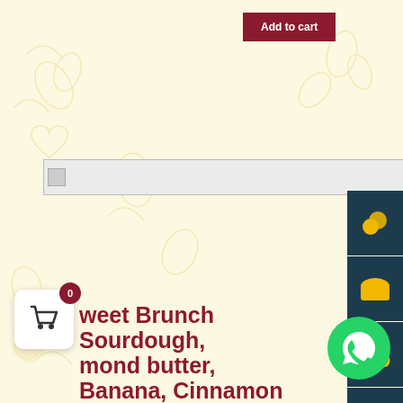Add to cart
[Figure (photo): Broken image placeholder with small broken image icon]
[Figure (photo): Food photo: a white plate with grilled chicken sandwich/toast topped with lettuce and cherry tomatoes, alongside a bowl of orange/tomato soup]
AVO CHICKEN
sourdough, roasted chicken, lettuce, sliced che cherry tomatoes, honey mustard W/ Soup of th
0
weet Brunch Sourdough, mond butter, Banana, Cinnamon
Avo Chicken (Sourdough, Roasted Chicken, Guac, Sliced